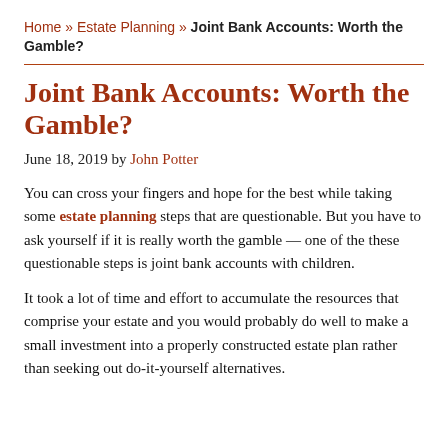Home » Estate Planning » Joint Bank Accounts: Worth the Gamble?
Joint Bank Accounts: Worth the Gamble?
June 18, 2019 by John Potter
You can cross your fingers and hope for the best while taking some estate planning steps that are questionable. But you have to ask yourself if it is really worth the gamble — one of the these questionable steps is joint bank accounts with children.
It took a lot of time and effort to accumulate the resources that comprise your estate and you would probably do well to make a small investment into a properly constructed estate plan rather than seeking out do-it-yourself alternatives.